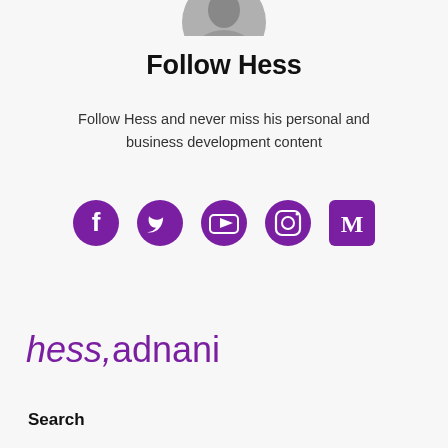[Figure (photo): Partial circular profile photo cropped at top of page]
Follow Hess
Follow Hess and never miss his personal and business development content
[Figure (infographic): Row of five social media icons: Facebook, Twitter, YouTube, Instagram, Medium — all in purple]
[Figure (logo): hess,adnani logo in purple italic text]
Search